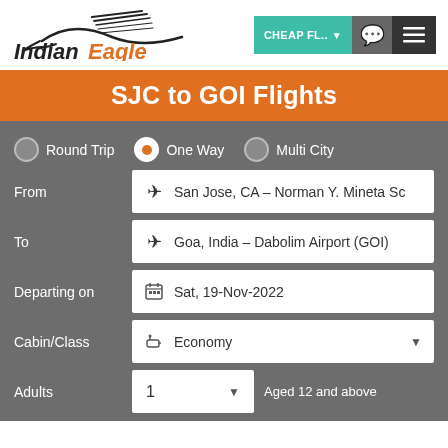[Figure (logo): Indian Eagle logo with stylized eagle wings and italic text 'Indian Eagle']
[Figure (screenshot): Navigation bar with CHEAP FL.. dropdown button, chat icon, and hamburger menu icon]
SJC to GOI Flights
Round Trip | One Way (selected) | Multi City
From: San Jose, CA - Norman Y. Mineta Sc
To: Goa, India - Dabolim Airport (GOI)
Departing on: Sat, 19-Nov-2022
Cabin/Class: Economy
Adults: 1 | Aged 12 and above